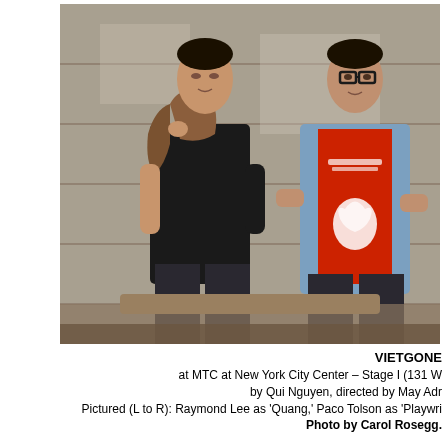[Figure (photo): Two men posing in front of a weathered brick/wood wall background. Left man wears a black t-shirt and dark jeans, holding a brown leather jacket over his shoulder. Right man wears a blue denim shirt open over a red Sriracha hot sauce t-shirt, dark jeans, and black-rimmed glasses.]
VIETGONE
at MTC at New York City Center – Stage I (131 W
by Qui Nguyen, directed by May Adr
Pictured (L to R): Raymond Lee as 'Quang,' Paco Tolson as 'Playwri
Photo by Carol Rosegg.